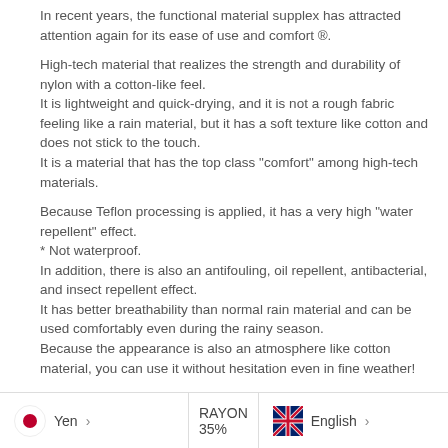In recent years, the functional material supplex has attracted attention again for its ease of use and comfort ®.
High-tech material that realizes the strength and durability of nylon with a cotton-like feel.
It is lightweight and quick-drying, and it is not a rough fabric feeling like a rain material, but it has a soft texture like cotton and does not stick to the touch.
It is a material that has the top class "comfort" among high-tech materials.
Because Teflon processing is applied, it has a very high "water repellent" effect.
* Not waterproof.
In addition, there is also an antifouling, oil repellent, antibacterial, and insect repellent effect.
It has better breathability than normal rain material and can be used comfortably even during the rainy season.
Because the appearance is also an atmosphere like cotton material, you can use it without hesitation even in fine weather!
Yen  >    RAYON 35%    English  >